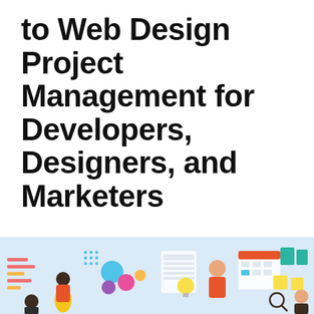to Web Design Project Management for Developers, Designers, and Marketers
by Monique Elliot · Project Management
Aug 11, 2020 · 57 minute read · Leave a comment
[Figure (illustration): Colorful illustration of web design project management with people working at computers, charts, calendars, and design tools on a light blue background.]